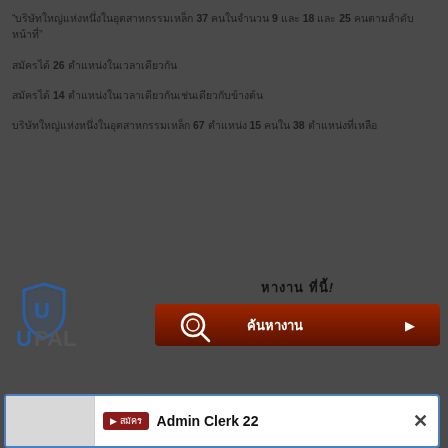“บริษัทใหญ่แห่งหนึ่งในอุตสาหกรรมเหล็ก 37 คนในจำนวน 9 และ 18 และ 25 คนตามลำดับหน้าที่”
สมัครได้ 26 ตำแหน่งในเวลาเดียวกัน
สมัครได้ 14 ตำแหน่งในเวลาเดียวกันเช่นเดียวกับข้างต้น
บริษัทใหญ่แห่งหนึ่งในอุตสาหกรรมเหล็ก 67 ตำแหน่ง 15 คนใน 38 ตำแหน่งที่เหลือ
[Figure (logo): UPAL logo with shield icon and company name]
หางานที่นี่!
[Figure (screenshot): Find job button with search icon and arrow]
[Figure (screenshot): Admin Clerk 22 job card popup with close button]